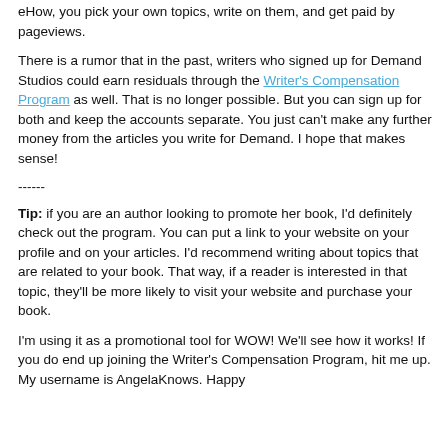eHow, you pick your own topics, write on them, and get paid by pageviews.
There is a rumor that in the past, writers who signed up for Demand Studios could earn residuals through the Writer's Compensation Program as well. That is no longer possible. But you can sign up for both and keep the accounts separate. You just can't make any further money from the articles you write for Demand. I hope that makes sense!
------
Tip: if you are an author looking to promote her book, I'd definitely check out the program. You can put a link to your website on your profile and on your articles. I'd recommend writing about topics that are related to your book. That way, if a reader is interested in that topic, they'll be more likely to visit your website and purchase your book.
I'm using it as a promotional tool for WOW! We'll see how it works! If you do end up joining the Writer's Compensation Program, hit me up. My username is AngelaKnows. Happy